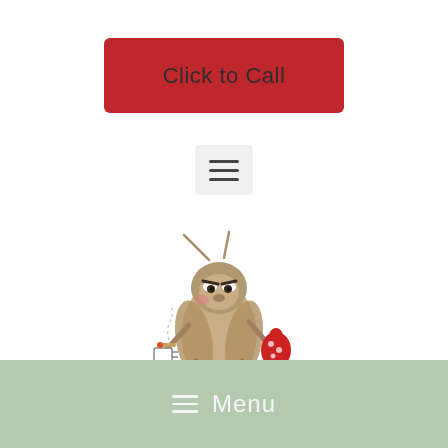[Figure (other): Red rounded-rectangle button with text 'Click to Call']
[Figure (other): Hamburger menu icon with three horizontal bars on a light grey background]
[Figure (logo): Magic Pest & Lawn logo featuring a cartoon cockroach mascot holding a cigar and a red polka-dot bag, standing among yellow flowers, with large bold text 'MAGIC' and 'PEST & LAWN' below]
[Figure (other): Bottom navigation bar in sage green with hamburger icon and 'Menu' text in white]